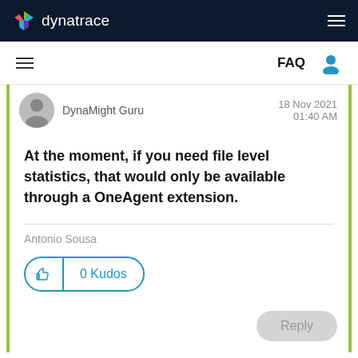dynatrace
DynaMight Guru  18 Nov 2021  01:40 AM
At the moment, if you need file level statistics, that would only be available through a OneAgent extension.
Antonio Sousa
0 Kudos
Reply